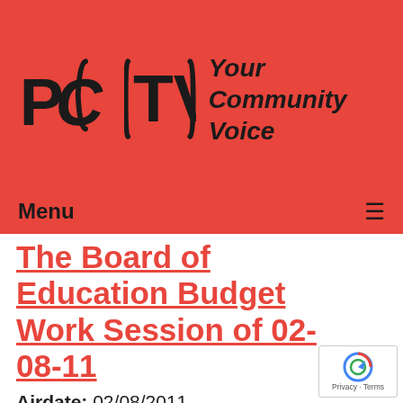[Figure (logo): PCTV logo with stylized letters PC and TV in black with brackets, on red background, with tagline 'Your Community Voice' in bold italic]
Menu ≡
The Board of Education Budget Work Session of 02-08-11
Airdate: 02/08/2011
Watched: 1423 times
[Figure (photo): Thumbnail of a room with wooden panel doors or walls]